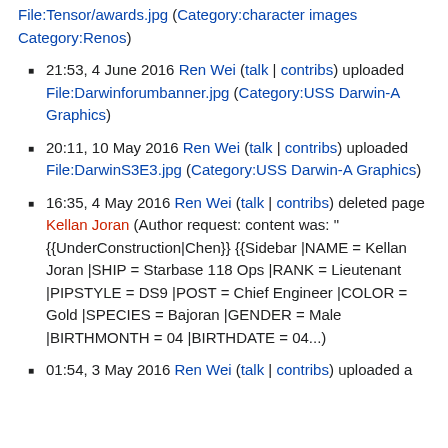File:Tensor/awards.jpg (Category:character images Category:Renos)
21:53, 4 June 2016 Ren Wei (talk | contribs) uploaded File:Darwinforumbanner.jpg (Category:USS Darwin-A Graphics)
20:11, 10 May 2016 Ren Wei (talk | contribs) uploaded File:DarwinS3E3.jpg (Category:USS Darwin-A Graphics)
16:35, 4 May 2016 Ren Wei (talk | contribs) deleted page Kellan Joran (Author request: content was: "{{UnderConstruction|Chen}} {{Sidebar |NAME = Kellan Joran |SHIP = Starbase 118 Ops |RANK = Lieutenant |PIPSTYLE = DS9 |POST = Chief Engineer |COLOR = Gold |SPECIES = Bajoran |GENDER = Male |BIRTHMONTH = 04 |BIRTHDATE = 04...)
01:54, 3 May 2016 Ren Wei (talk | contribs) uploaded a